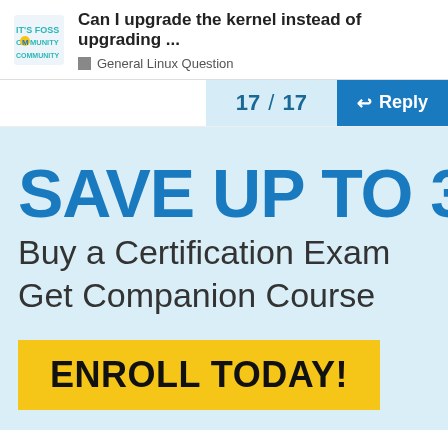Can I upgrade the kernel instead of upgrading ... | General Linux Question
17 / 17
Reply
[Figure (screenshot): Advertisement banner with light blue background showing 'SAVE UP TO 33%', 'Buy a Certification Exam Get Companion Course', and an 'ENROLL TODAY!' yellow button]